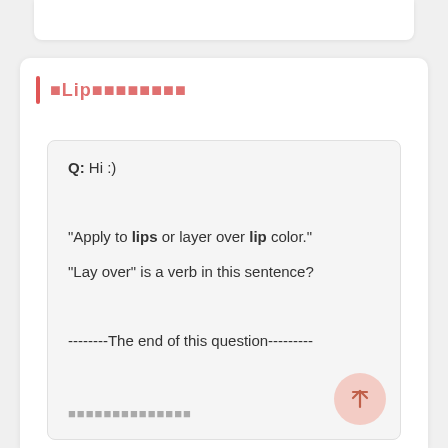🔴Lip🟥🟥🟥🟥🟥🟥🟥🟥
Q: Hi :)
"Apply to lips or layer over lip color."
"Lay over" is a verb in this sentence?
--------The end of this question---------
🟥🟥🟥🟥🟥🟥🟥🟥🟥🟥🟥🟥🟥🟥